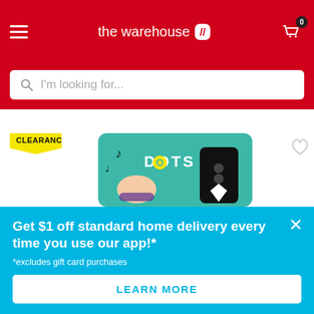the warehouse - navigation header with hamburger menu, logo, and cart (0 items)
I'm looking for...
[Figure (photo): LEGO DOTS product bag on clearance, showing a wrist wearing a colorful DOTS bracelet, with music notes and DOTS branding on teal packaging. A black diamond/star shaped tile design is visible on the right side of the packaging.]
Get $1 off standard home delivery every time you use our app!*
*excludes gift card purchases
LEARN MORE